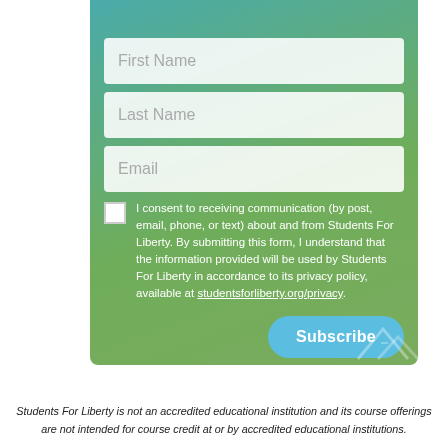content and updates!
First Name
Last Name
Email
I consent to receiving communication (by post, email, phone, or text) about and from Students For Liberty. By submitting this form, I understand that the information provided will be used by Students For Liberty in accordance to its privacy policy, available at studentsforliberty.org/privacy.
Subscribe
Students For Liberty is not an accredited educational institution and its course offerings are not intended for course credit at or by accredited educational institutions.